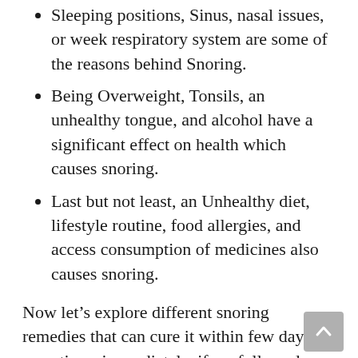Sleeping positions, Sinus, nasal issues, or week respiratory system are some of the reasons behind Snoring.
Being Overweight, Tonsils, an unhealthy tongue, and alcohol have a significant effect on health which causes snoring.
Last but not least, an Unhealthy diet, lifestyle routine, food allergies, and access consumption of medicines also causes snoring.
Now let’s explore different snoring remedies that can cure it within few days, sometimes immediately, if we followed